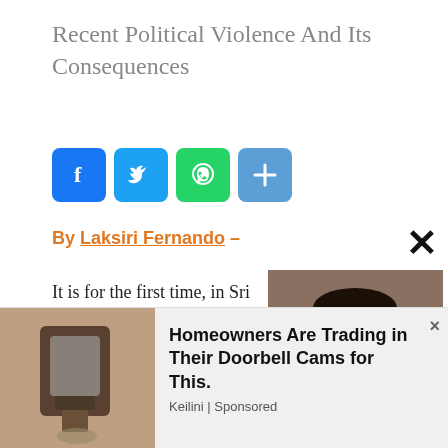Recent Political Violence And Its Consequences
[Figure (infographic): Social media sharing buttons: Facebook (blue), Twitter (light blue), WhatsApp (green), and a plus/more button (blue)]
By Laksiri Fernando –
It is for the first time, in Sri Lanka's political history, that a government was
[Figure (photo): Portrait photo of author Laksiri Fernando, a man wearing glasses and a suit]
[Figure (infographic): Advertisement: Homeowners Are Trading in Their Doorbell Cams for This. Keilini | Sponsored. Shows a wall-mounted light/camera device.]